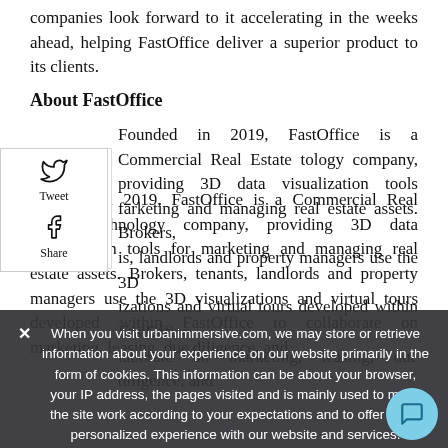companies look forward to it accelerating in the weeks ahead, helping FastOffice deliver a superior product to its clients.
About FastOffice
Founded in 2019, FastOffice is a Commercial Real Estate technology company, providing 3D data visualization tools for marketing and managing real estate assets. Brokers, tenants, landlords and property managers use the 3D visualizations and virtual tours developed within FastOffice to collaborate on marketing, leasing, due diligence, and...
When you visit urbanimmersive.com, we may store or retrieve information about your experience on our website primarily in the form of cookies. This information can be about your browser, your IP address, the pages visited and is mainly used to make the site work according to your expectations and to offer you a personalized experience with our website and services.